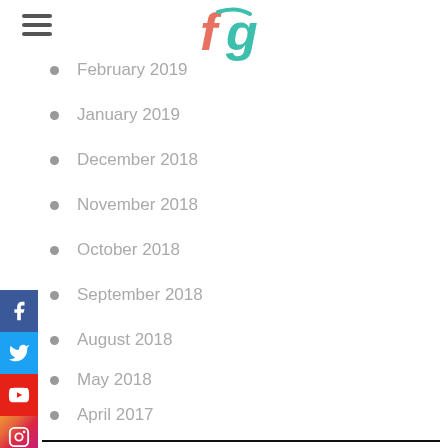[Logo: fg] [Hamburger menu]
February 2019
January 2019
December 2018
November 2018
October 2018
September 2018
August 2018
May 2018
April 2017
CATEGORIES
Best Essay Writing